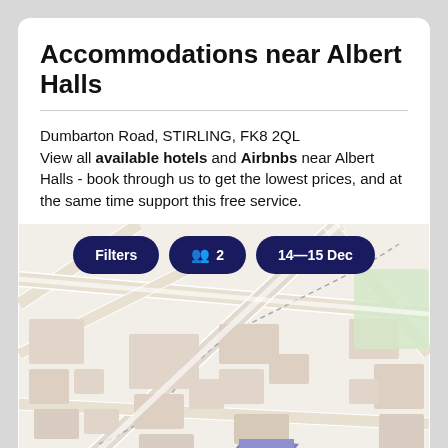Accommodations near Albert Halls
Dumbarton Road, STIRLING, FK8 2QL
View all available hotels and Airbnbs near Albert Halls - book through us to get the lowest prices, and at the same time support this free service.
[Figure (map): Street map showing area near Albert Halls in Stirling with filter buttons: Filters, 2 guests, 14–15 Dec]